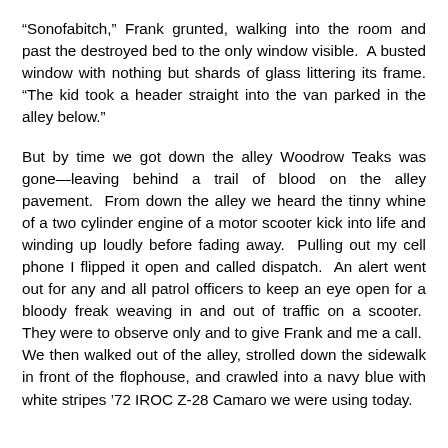“Sonofabitch,” Frank grunted, walking into the room and past the destroyed bed to the only window visible.  A busted window with nothing but shards of glass littering its frame.  “The kid took a header straight into the van parked in the alley below.”
But by time we got down the alley Woodrow Teaks was gone—leaving behind a trail of blood on the alley pavement.  From down the alley we heard the tinny whine of a two cylinder engine of a motor scooter kick into life and winding up loudly before fading away.  Pulling out my cell phone I flipped it open and called dispatch.  An alert went out for any and all patrol officers to keep an eye open for a bloody freak weaving in and out of traffic on a scooter.  They were to observe only and to give Frank and me a call.  We then walked out of the alley, strolled down the sidewalk in front of the flophouse, and crawled into a navy blue with white stripes ’72 IROC Z-28 Camaro we were using today.